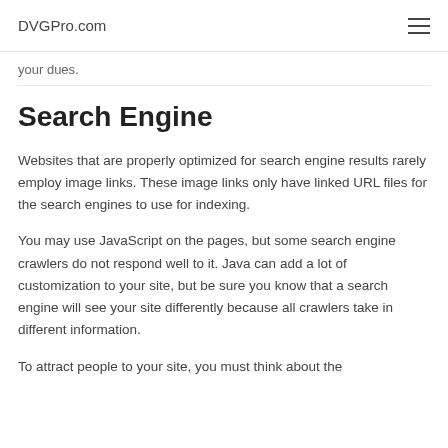DVGPro.com
your dues.
Search Engine
Websites that are properly optimized for search engine results rarely employ image links. These image links only have linked URL files for the search engines to use for indexing.
You may use JavaScript on the pages, but some search engine crawlers do not respond well to it. Java can add a lot of customization to your site, but be sure you know that a search engine will see your site differently because all crawlers take in different information.
To attract people to your site, you must think about the